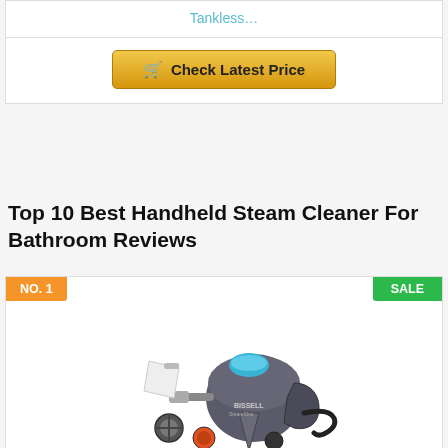Tankless…
Check Latest Price
Top 10 Best Handheld Steam Cleaner For Bathroom Reviews
NO. 1
SALE
[Figure (photo): Bissell SteamShot Hard Surface Steam Cleaner with attachments and power cord, shown on white background]
Bissell SteamShot Hard Surface Steam Cleaner